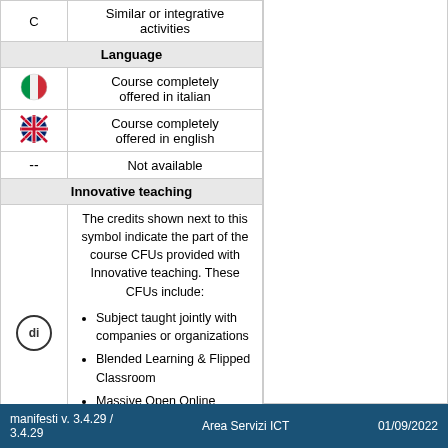| Symbol | Description |
| --- | --- |
| C | Similar or integrative activities |
| Language | Language |
| 🇮🇹 | Course completely offered in italian |
| 🇬🇧 | Course completely offered in english |
| -- | Not available |
| Innovative teaching | Innovative teaching |
| di | The credits shown next to this symbol indicate the part of the course CFUs provided with Innovative teaching. These CFUs include: Subject taught jointly with companies or organizations; Blended Learning & Flipped Classroom; Massive Open Online Courses (MOOC); Soft Skills |
manifesti v. 3.4.29 / 3.4.29   Area Servizi ICT   01/09/2022